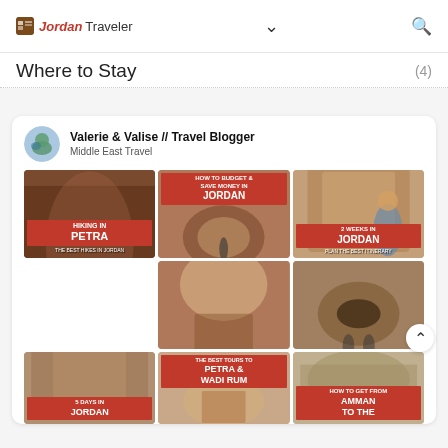Jordan Traveler [logo] [chevron] [search]
Where to Stay (4)
[Figure (infographic): Pinterest board embed: Valerie & Valise // Travel Blogger – Middle East Travel. Grid of 6 travel blog thumbnail images: Hiking in Petra, How to Budget & Save Money in Jordan, 2 Weeks in Jordan, 5 Days in Jordan, The Best Tours to Petra & Wadi Rum, How to Get From Amman to the...]